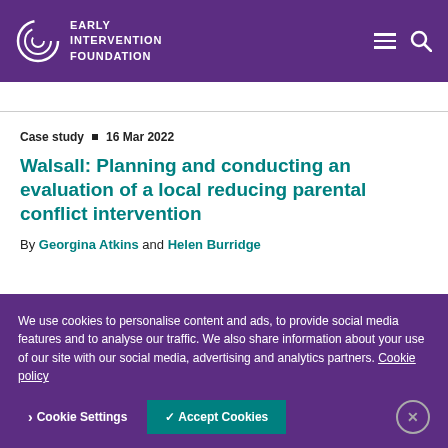EARLY INTERVENTION FOUNDATION
Case study ■ 16 Mar 2022
Walsall: Planning and conducting an evaluation of a local reducing parental conflict intervention
By Georgina Atkins and Helen Burridge
We use cookies to personalise content and ads, to provide social media features and to analyse our traffic. We also share information about your use of our site with our social media, advertising and analytics partners. Cookie policy